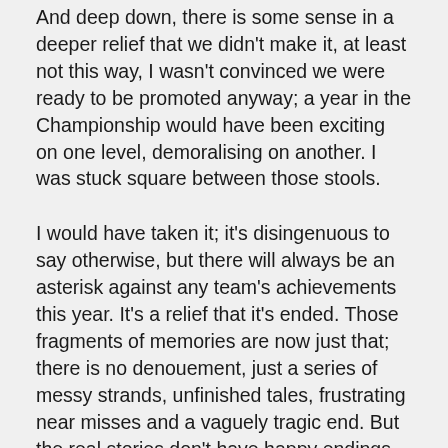And deep down, there is some sense in a deeper relief that we didn't make it, at least not this way, I wasn't convinced we were ready to be promoted anyway; a year in the Championship would have been exciting on one level, demoralising on another. I was stuck square between those stools.
I would have taken it; it's disingenuous to say otherwise, but there will always be an asterisk against any team's achievements this year. It's a relief that it's ended. Those fragments of memories are now just that; there is no denouement, just a series of messy strands, unfinished tales, frustrating near misses and a vaguely tragic end. But the real stories don't have happy endings and convenient conclusions. They bind you more closely together and urge you to try it again, it doesn't feel like it now, but it maybe the better way.